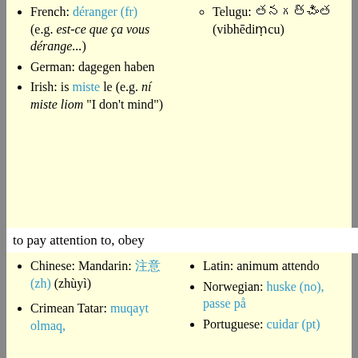French: déranger (fr) (e.g. est-ce que ça vous dérange...)
German: dagegen haben
Irish: is miste le (e.g. ní miste liom "I don't mind")
Telugu: విభేదిమ్చు (vibhēdiṃcu)
to pay attention to, obey
Chinese: Mandarin: 注意 (zh) (zhùyì)
Crimean Tatar: muqayt olmaq,
Latin: animum attendo
Norwegian: huske (no), passe på
Portuguese: cuidar (pt)